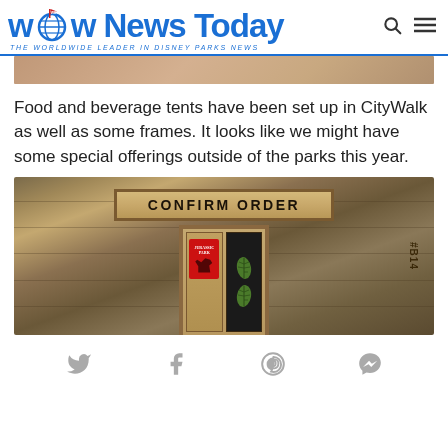WDW News Today — THE WORLDWIDE LEADER IN DISNEY PARKS NEWS
[Figure (photo): Top partial photo showing a brown/tan surface, likely a wooden structure or pavement]
Food and beverage tents have been set up in CityWalk as well as some frames. It looks like we might have some special offerings outside of the parks this year.
[Figure (photo): Photo of a wooden food/beverage tent structure with a sign reading CONFIRM ORDER and Jurassic Park branding on the doors, labeled #B14]
Social sharing icons: Twitter, Facebook, Pinterest, Messenger